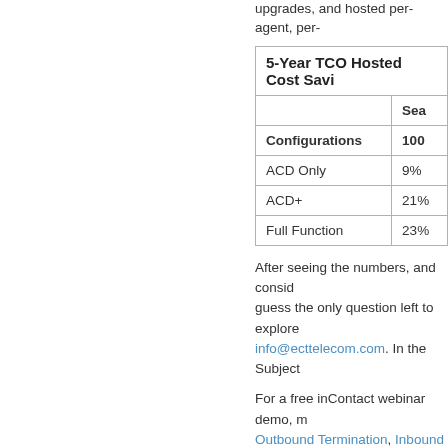upgrades, and hosted per-agent, per-
| 5-Year TCO Hosted Cost Savi... | Sea... |
| --- | --- |
| Configurations | 100 |
| ACD Only | 9% |
| ACD+ | 21% |
| Full Function | 23% |
After seeing the numbers, and consid... guess the only question left to explore... info@ecttelecom.com. In the Subject...
For a free inContact webinar demo, m... Outbound Termination, Inbound Toll F... DS3, OCX, Fixed Wireless, Ethernet,... International 850-936-5887. For a no...
Posted in Call Center Solutions, Data... Hosted Contact Centers, Hosted Dial... Inbound Cloud, Inbound Contact Cem... Inbound Toll Free Call Center, Inbour... incontact outbound, inContact Toll F...